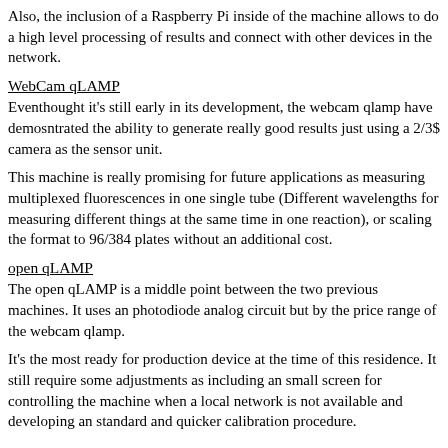Also, the inclusion of a Raspberry Pi inside of the machine allows to do a high level processing of results and connect with other devices in the network.
WebCam qLAMP
Eventhought it's still early in its development, the webcam qlamp have demosntrated the ability to generate really good results just using a 2/3$ camera as the sensor unit.
This machine is really promising for future applications as measuring multiplexed fluorescences in one single tube (Different wavelengths for measuring different things at the same time in one reaction), or scaling the format to 96/384 plates without an additional cost.
open qLAMP
The open qLAMP is a middle point between the two previous machines. It uses an photodiode analog circuit but by the price range of the webcam qlamp.
It's the most ready for production device at the time of this residence. It still require some adjustments as including an small screen for controlling the machine when a local network is not available and developing an standard and quicker calibration procedure.